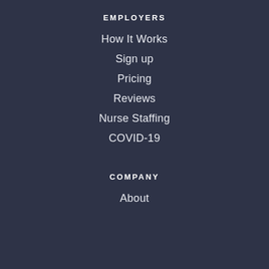EMPLOYERS
How It Works
Sign up
Pricing
Reviews
Nurse Staffing
COVID-19
COMPANY
About